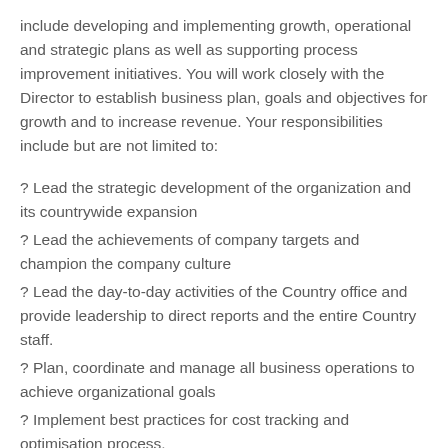include developing and implementing growth, operational and strategic plans as well as supporting process improvement initiatives. You will work closely with the Director to establish business plan, goals and objectives for growth and to increase revenue. Your responsibilities include but are not limited to:
? Lead the strategic development of the organization and its countrywide expansion
? Lead the achievements of company targets and champion the company culture
? Lead the day-to-day activities of the Country office and provide leadership to direct reports and the entire Country staff.
? Plan, coordinate and manage all business operations to achieve organizational goals
? Implement best practices for cost tracking and optimisation process.
? Ensure compliance with local laws and regulations